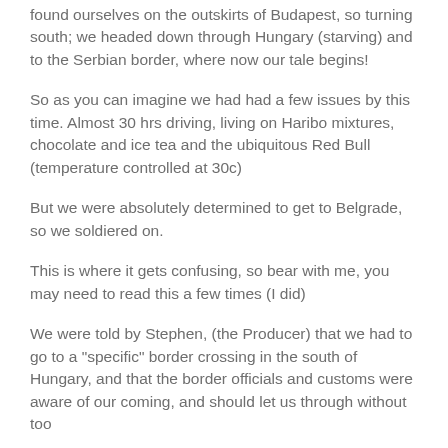found ourselves on the outskirts of Budapest, so turning south; we headed down through Hungary (starving) and to the Serbian border, where now our tale begins!
So as you can imagine we had had a few issues by this time. Almost 30 hrs driving, living on Haribo mixtures, chocolate and ice tea and the ubiquitous Red Bull (temperature controlled at 30c)
But we were absolutely determined to get to Belgrade, so we soldiered on.
This is where it gets confusing, so bear with me, you may need to read this a few times (I did)
We were told by Stephen, (the Producer) that we had to go to a "specific" border crossing in the south of Hungary, and that the border officials and customs were aware of our coming, and should let us through without too